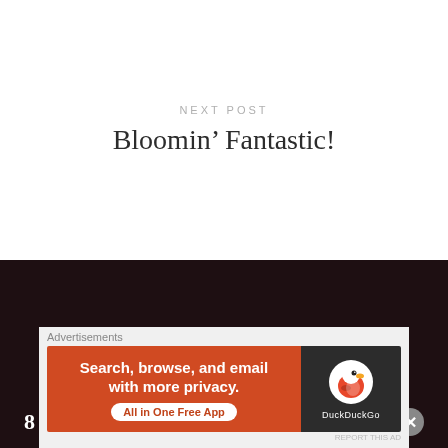NEXT POST
Bloomin’ Fantastic!
8 Comments
ADD YOURS
[Figure (screenshot): DuckDuckGo advertisement banner: orange left side with text 'Search, browse, and email with more privacy. All in One Free App' and dark right side showing DuckDuckGo duck logo]
Advertisements
REPORT THIS AD